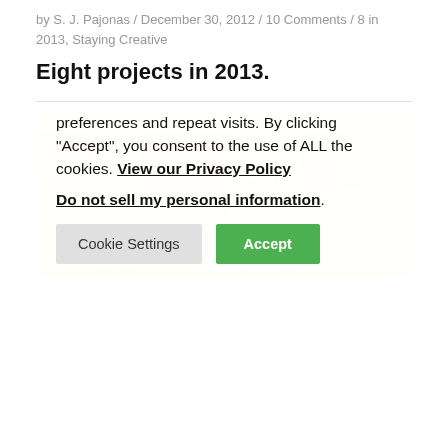by S. J. Pajonas / December 30, 2012 / 10 Comments / 8 in 2013, Staying Creative
Eight projects in 2013.
[Figure (photo): Photo of two ceramic mugs with handwritten text, warm yellow-toned filter applied]
We use cookies on our website to give you the most relevant experience by remembering your preferences and repeat visits. By clicking “Accept”, you consent to the use of ALL the cookies. View our Privacy Policy
Do not sell my personal information.